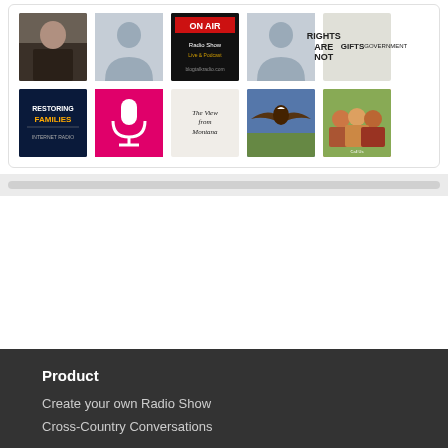[Figure (screenshot): Grid of 10 radio show thumbnail images in two rows: row 1: person photo, silhouette, On Air graphic, silhouette, Rights Are Not Gifts text graphic; row 2: Restoring Families book cover, pink microphone icon, The View from Montana newsletter, bald eagle photo, children photo]
Product
Create your own Radio Show
Cross-Country Conversations